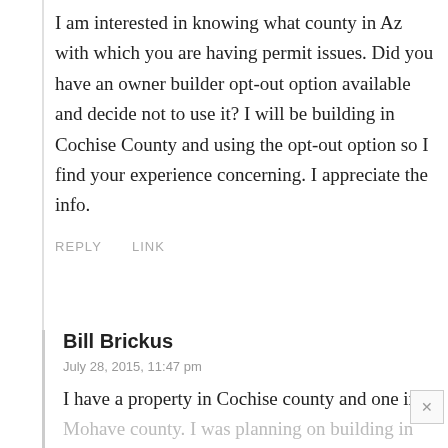I am interested in knowing what county in Az with which you are having permit issues. Did you have an owner builder opt-out option available and decide not to use it? I will be building in Cochise County and using the opt-out option so I find your experience concerning. I appreciate the info.
REPLY   LINK
Bill Brickus
July 28, 2015, 11:47 pm
I have a property in Cochise county and one in Mohave county. I was planning on building in Mohave county. And I am doing the owner builder